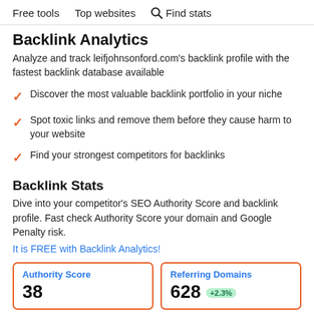Free tools   Top websites   Find stats
Backlink Analytics
Analyze and track leifjohnsonford.com's backlink profile with the fastest backlink database available
Discover the most valuable backlink portfolio in your niche
Spot toxic links and remove them before they cause harm to your website
Find your strongest competitors for backlinks
Backlink Stats
Dive into your competitor's SEO Authority Score and backlink profile. Fast check Authority Score your domain and Google Penalty risk.
It is FREE with Backlink Analytics!
| Authority Score | Referring Domains |
| --- | --- |
| 38 | 628 +2.3% |